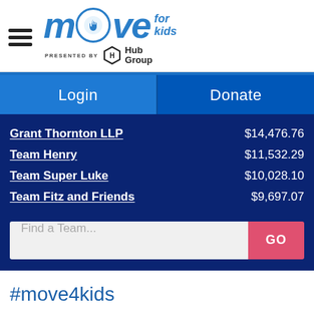[Figure (logo): Move for Kids logo presented by Hub Group — stylized 'move' text in blue with raised hand icon in circle, 'for kids' text, and 'PRESENTED BY Hub Group' with hexagon logo badge]
Login
Donate
| Team | Amount |
| --- | --- |
| Grant Thornton LLP | $14,476.76 |
| Team Henry | $11,532.29 |
| Team Super Luke | $10,028.10 |
| Team Fitz and Friends | $9,697.07 |
Find a Team...
GO
#move4kids